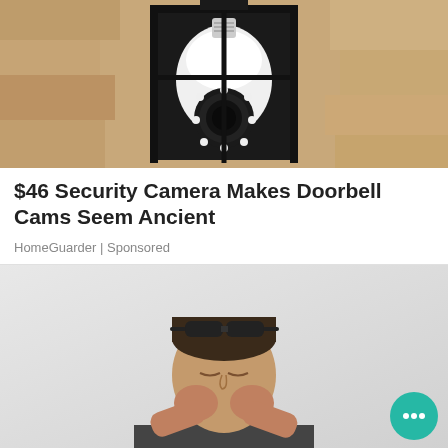[Figure (photo): A security camera shaped like a light bulb mounted in an outdoor lantern fixture against a textured stone wall]
$46 Security Camera Makes Doorbell Cams Seem Ancient
HomeGuarder | Sponsored
[Figure (photo): A man rubbing his eyes with his fists, wearing glasses on top of his head, against a light grey background, with a teal chat bubble button overlay]